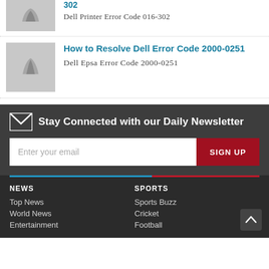[Figure (illustration): Thumbnail image placeholder with W logo for Dell Printer Error Code 016-302 article (partially visible at top)]
Dell Printer Error Code 016-302
[Figure (illustration): Thumbnail image placeholder with W logo for How to Resolve Dell Error Code 2000-0251 article]
How to Resolve Dell Error Code 2000-0251
Dell Epsa Error Code 2000-0251
Stay Connected with our Daily Newsletter
Enter your email  SIGN UP
NEWS  Top News  World News  Entertainment  SPORTS  Sports Buzz  Cricket  Football